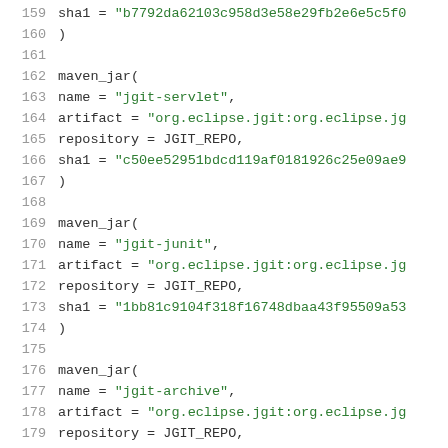Code listing lines 159-180 showing maven_jar build rules for jgit-servlet, jgit-junit, and jgit-archive
[Figure (screenshot): Source code screenshot showing Bazel/build file maven_jar entries for jgit-servlet (lines 159-167), jgit-junit (lines 169-174), and jgit-archive (lines 176-180) with green string literals and grey line numbers on white background]